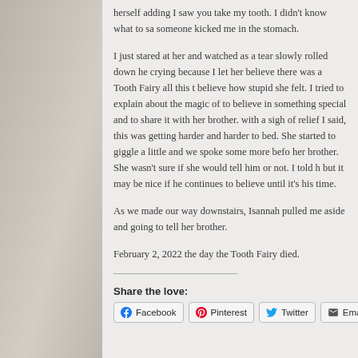herself adding I saw you take my tooth. I didn't know what to say, someone kicked me in the stomach.

I just stared at her and watched as a tear slowly rolled down her cheek. She was crying because I let her believe there was a Tooth Fairy all this time, and she couldn't believe how stupid she felt. I tried to explain about the magic of letting a younger one to believe in something special and to share it with her brother. She seemed to relax and with a sigh of relief I said, this was getting harder and harder to keep up with. We sat in bed. She started to giggle a little and we spoke some more before she expressed concern for her brother. She wasn't sure if she would tell him or not. I told her that was her decision but it may be nice if he continues to believe until it's his time.

As we made our way downstairs, Isannah pulled me aside and told me she was not going to tell her brother.

February 2, 2022 the day the Tooth Fairy died.
Share the love: